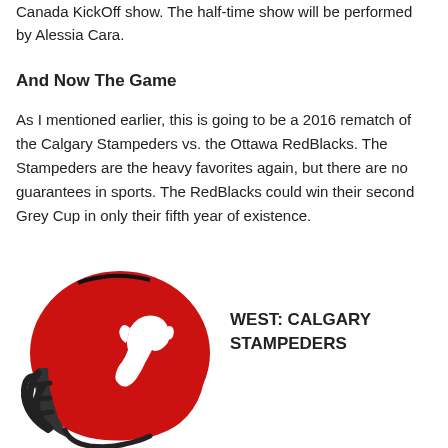Canada KickOff show. The half-time show will be performed by Alessia Cara.
And Now The Game
As I mentioned earlier, this is going to be a 2016 rematch of the Calgary Stampeders vs. the Ottawa RedBlacks. The Stampeders are the heavy favorites again, but there are no guarantees in sports. The RedBlacks could win their second Grey Cup in only their fifth year of existence.
[Figure (illustration): Calgary Stampeders red football helmet with white horse logo]
WEST: CALGARY STAMPEDERS